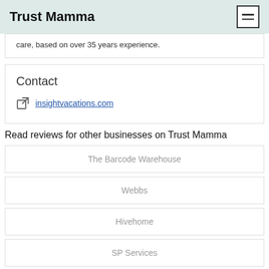Trust Mamma
care, based on over 35 years experience.
Contact
insightvacations.com
Read reviews for other businesses on Trust Mamma
The Barcode Warehouse
Webbs
Hivehome
SP Services